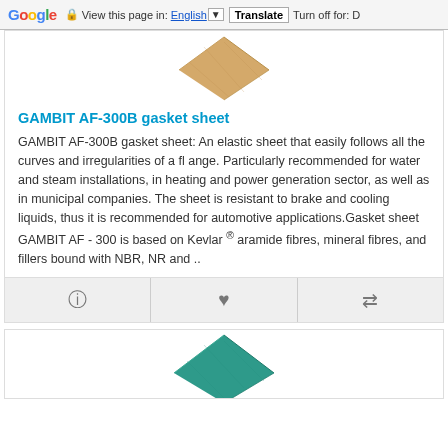Google | View this page in: English | Translate | Turn off for: D
[Figure (photo): Partial view of a tan/beige colored gasket sheet product, showing the corner of a diamond/rhombus shaped piece against a white background]
GAMBIT AF-300B gasket sheet
GAMBIT AF-300B gasket sheet: An elastic sheet that easily follows all the curves and irregularities of a fl ange. Particularly recommended for water and steam installations, in heating and power generation sector, as well as in municipal companies. The sheet is resistant to brake and cooling liquids, thus it is recommended for automotive applications.Gasket sheet GAMBIT AF - 300 is based on Kevlar ® aramide fibres, mineral fibres, and fillers bound with NBR, NR and ..
[Figure (photo): Partial view of a teal/green colored gasket sheet product, showing the top corner of a diamond/rhombus shaped piece against a white background]